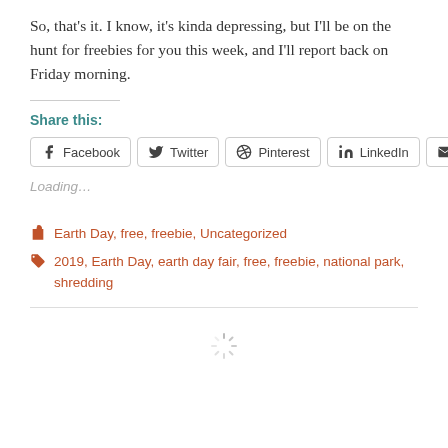So, that's it. I know, it's kinda depressing, but I'll be on the hunt for freebies for you this week, and I'll report back on Friday morning.
Share this:
[Figure (other): Social share buttons: Facebook, Twitter, Pinterest, LinkedIn, Email]
Loading...
Earth Day, free, freebie, Uncategorized
2019, Earth Day, earth day fair, free, freebie, national park, shredding
[Figure (other): Loading spinner icon]